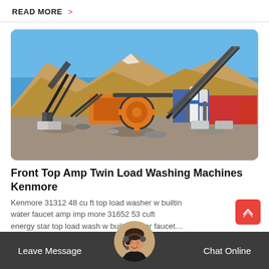READ MORE >
[Figure (photo): Industrial mining/crushing equipment with conveyor belts and orange machinery, set against a mountain backdrop under a blue sky.]
Front Top Amp Twin Load Washing Machines Kenmore
Kenmore 31312 48 cu ft top load washer w builtin water faucet amp imp more 31652 53 cuft energy star top load wash w builtin water faucet...
Leave Message   Chat Online